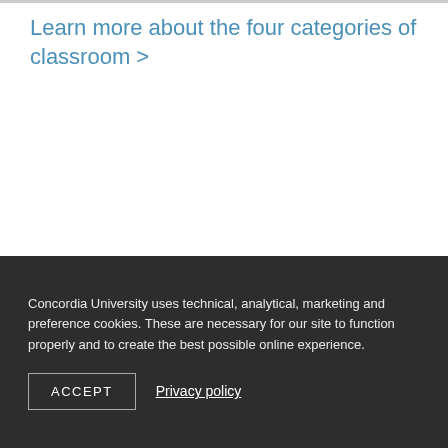Learn more about the four categories of classroom >
Concordia's new bimodal classrooms
Concordia University uses technical, analytical, marketing and preference cookies. These are necessary for our site to function properly and to create the best possible online experience.
ACCEPT
Privacy policy